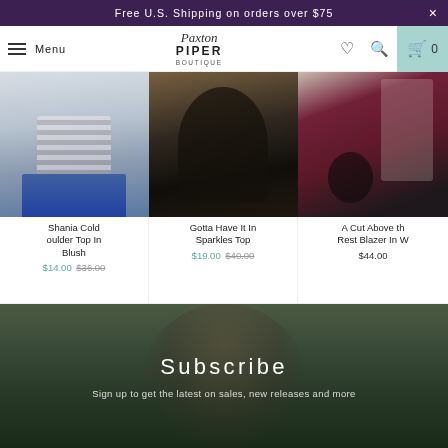Free U.S. Shipping on orders over $75
[Figure (screenshot): Paxton Piper Boutique navigation bar with menu, logo, heart icon, search icon, and cart showing 0 items]
[Figure (photo): Shania Cold Shoulder Top In Blush - woman wearing striped top]
Shania Cold oulder Top In Blush
$14.00 $36.00
[Figure (photo): Gotta Have It In Sparkles Top - woman wearing black sparkly top]
Gotta Have It In Sparkles Top
$19.00 $40.00
[Figure (photo): A Cut Above the Rest Blazer In W - woman wearing burgundy blazer]
A Cut Above th Rest Blazer In W
$44.00
Subscribe
Sign up to get the latest on sales, new releases and more